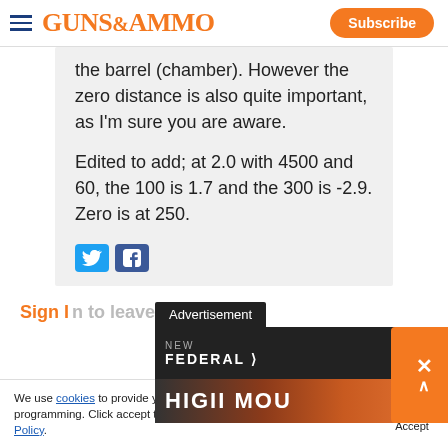GUNS&AMMO | Subscribe
the barrel (chamber). However the zero distance is also quite important, as I'm sure you are aware.

Edited to add; at 2.0 with 4500 and 60, the 100 is 1.7 and the 300 is -2.9. Zero is at 250.
[Figure (screenshot): Twitter and Facebook share buttons]
Sign in to leave a comment
[Figure (infographic): Advertisement overlay: NEW FEDERAL banner ad with orange close button]
We use cookies to provide you with the best experience in Outdoors programming. Click accept to continue or read about our Privacy Policy.